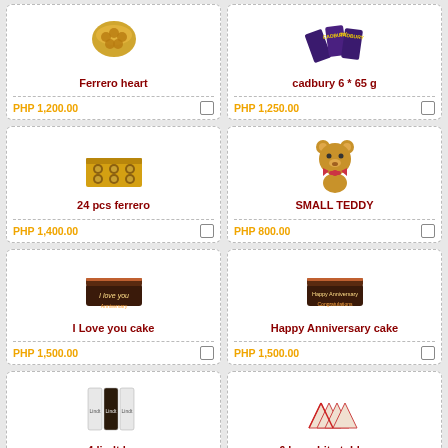[Figure (photo): Ferrero heart chocolate product]
Ferrero heart
PHP 1,200.00
[Figure (photo): Cadbury 6 * 65g chocolate bars]
cadbury 6 * 65 g
PHP 1,250.00
[Figure (photo): 24 pcs Ferrero Rocher box]
24 pcs ferrero
PHP 1,400.00
[Figure (photo): Small teddy bear]
SMALL TEDDY
PHP 800.00
[Figure (photo): I Love you cake]
I Love you cake
PHP 1,500.00
[Figure (photo): Happy Anniversary cake]
Happy Anniversary cake
PHP 1,500.00
[Figure (photo): 4 Lindt chocolate bars]
4 lindt bar
PHP 1,700.00
[Figure (photo): 6 bar white Toblerone]
6 bar white toblerone
PHP 1,700.00